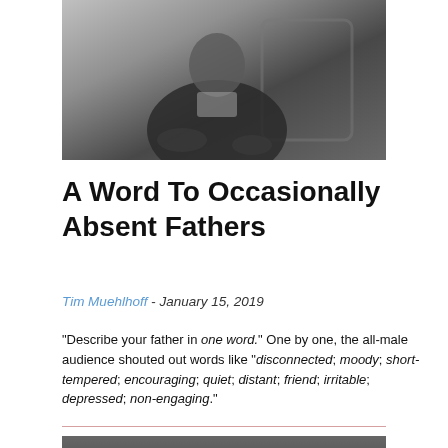[Figure (photo): Black and white photograph of a man sitting in a chair, cropped at top of image]
A Word To Occasionally Absent Fathers
Tim Muehlhoff - January 15, 2019
"Describe your father in one word." One by one, the all-male audience shouted out words like "disconnected; moody; short-tempered; encouraging; quiet; distant; friend; irritable; depressed; non-engaging."
[Figure (photo): Partial photograph with a decorative snowflake/knot watermark symbol, showing top of a person's head at bottom]